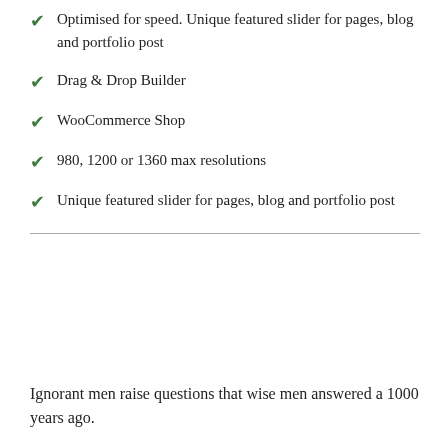Optimised for speed. Unique featured slider for pages, blog and portfolio post
Drag & Drop Builder
WooCommerce Shop
980, 1200 or 1360 max resolutions
Unique featured slider for pages, blog and portfolio post
Ignorant men raise questions that wise men answered a 1000 years ago.